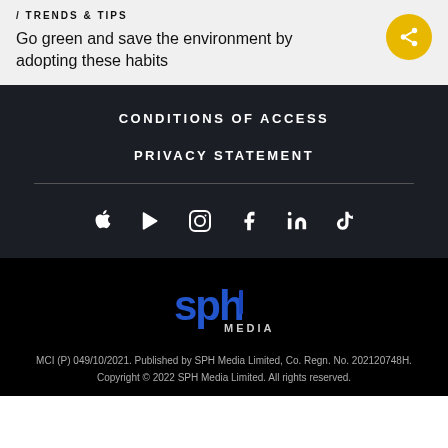/ TRENDS & TIPS
Go green and save the environment by adopting these habits
CONDITIONS OF ACCESS
PRIVACY STATEMENT
[Figure (infographic): Social media and app store icons: Apple, Google Play, Instagram, Facebook, LinkedIn, TikTok]
[Figure (logo): SPH Media logo in blue and white]
MCI (P) 049/10/2021. Published by SPH Media Limited, Co. Regn. No. 202120748H. Copyright © 2022 SPH Media Limited. All rights reserved.